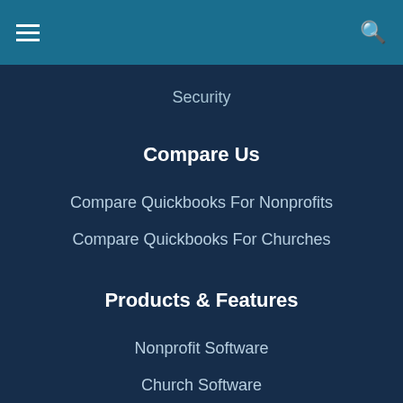Security
Compare Us
Compare Quickbooks For Nonprofits
Compare Quickbooks For Churches
Products & Features
Nonprofit Software
Church Software
Fund Accounting